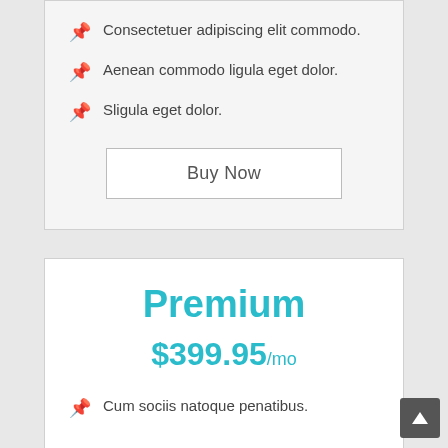Consectetuer adipiscing elit commodo.
Aenean commodo ligula eget dolor.
Sligula eget dolor.
Buy Now
Premium
$399.95/mo
Cum sociis natoque penatibus.